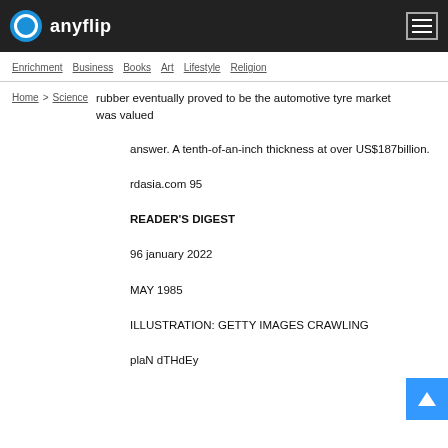anyflip
Enrichment | Business | Books | Art | Lifestyle | Religion
Home > Science
rubber eventually proved to be the automotive tyre market was valued
answer. A tenth-of-an-inch thickness at over US$187billion.
rdasia.com 95
READER'S DIGEST
96 january 2022
MAY 1985
ILLUSTRATION: GETTY IMAGES CRAWLING
plaN dTHdEy